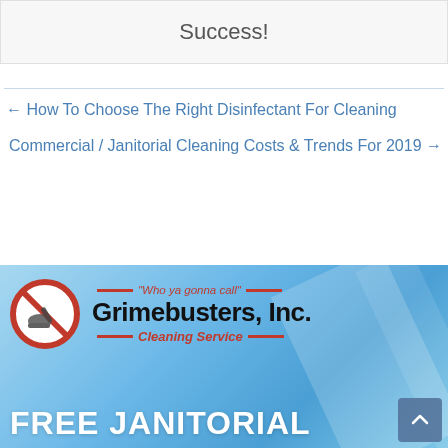Success!
← How To Choose The Right Disinfectant For Cleaning
Commercial / Janitorial Cleaning Costs & Trends For 2019 →
[Figure (logo): Grimebusters, Inc. Cleaning Service advertisement banner with logo, tagline 'Who ya gonna call', and text 'FREE JANITORIAL' on a blue gradient background]